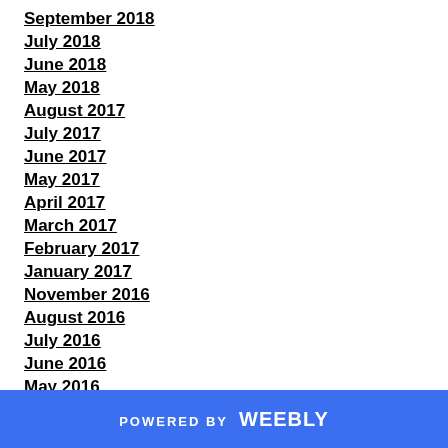September 2018
July 2018
June 2018
May 2018
August 2017
July 2017
June 2017
May 2017
April 2017
March 2017
February 2017
January 2017
November 2016
August 2016
July 2016
June 2016
May 2016
POWERED BY weebly